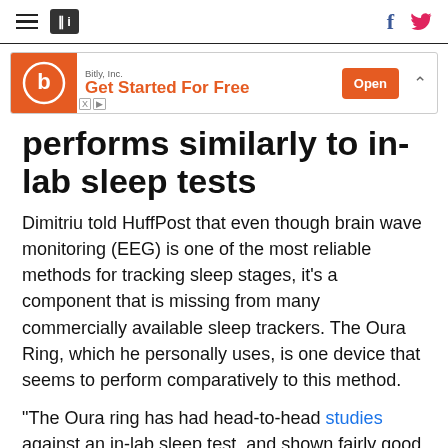HuffPost navigation with hamburger menu, logo, Facebook and Twitter icons
[Figure (other): Bitly, Inc. advertisement banner with orange icon, 'Get Started For Free' text and orange 'Open' button]
performs similarly to in-lab sleep tests
Dimitriu told HuffPost that even though brain wave monitoring (EEG) is one of the most reliable methods for tracking sleep stages, it's a component that is missing from many commercially available sleep trackers. The Oura Ring, which he personally uses, is one device that seems to perform comparatively to this method.
"The Oura ring has had head-to-head studies against an in-lab sleep test, and shown fairly good overlap in